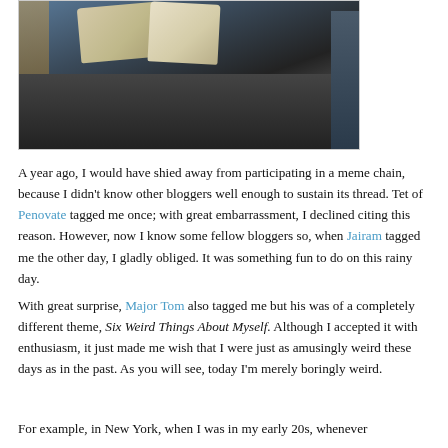[Figure (photo): A bedroom scene showing a dark upholstered bed frame with light-colored pillows, a curtain on the left, and dark furniture on the right.]
A year ago, I would have shied away from participating in a meme chain, because I didn't know other bloggers well enough to sustain its thread. Tet of Penovate tagged me once; with great embarrassment, I declined citing this reason. However, now I know some fellow bloggers so, when Jairam tagged me the other day, I gladly obliged. It was something fun to do on this rainy day.
With great surprise, Major Tom also tagged me but his was of a completely different theme, Six Weird Things About Myself. Although I accepted it with enthusiasm, it just made me wish that I were just as amusingly weird these days as in the past. As you will see, today I'm merely boringly weird.
For example, in New York, when I was in my early 20s, whenever